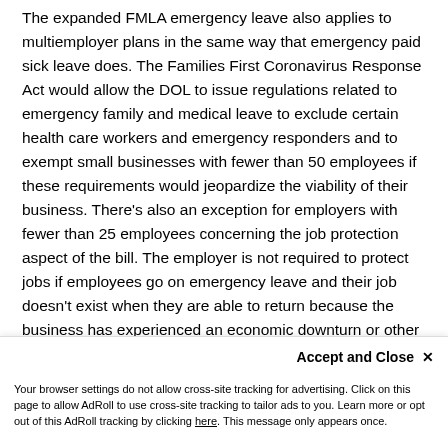The expanded FMLA emergency leave also applies to multiemployer plans in the same way that emergency paid sick leave does. The Families First Coronavirus Response Act would allow the DOL to issue regulations related to emergency family and medical leave to exclude certain health care workers and emergency responders and to exempt small businesses with fewer than 50 employees if these requirements would jeopardize the viability of their business. There's also an exception for employers with fewer than 25 employees concerning the job protection aspect of the bill. The employer is not required to protect jobs if employees go on emergency leave and their job doesn't exist when they are able to return because the business has experienced an economic downturn or other changes due to the public health emergency. To qualify for this exemption, the employer would also have to make reasonable efforts to restore the
employees to equivalent jobs for up to a year after
Tax Credits for Paid Leave
Your browser settings do not allow cross-site tracking for advertising. Click on this page to allow AdRoll to use cross-site tracking to tailor ads to you. Learn more or opt out of this AdRoll tracking by clicking here. This message only appears once.